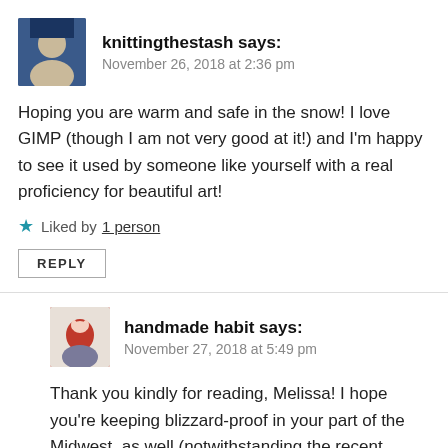knittingthestash says:
November 26, 2018 at 2:36 pm
Hoping you are warm and safe in the snow! I love GIMP (though I am not very good at it!) and I'm happy to see it used by someone like yourself with a real proficiency for beautiful art!
Liked by 1 person
REPLY
handmade habit says:
November 27, 2018 at 5:49 pm
Thank you kindly for reading, Melissa! I hope you're keeping blizzard-proof in your part of the Midwest, as well (notwithstanding the recent “summer” photoshoot 😉 ). Looking forward to